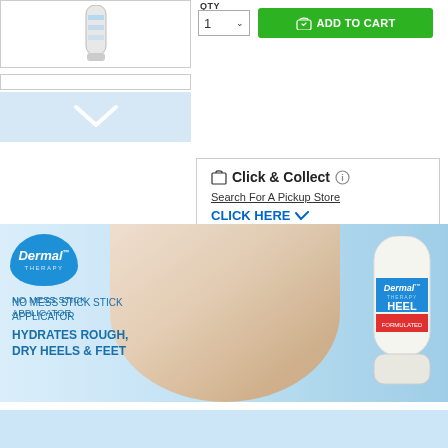[Figure (photo): Product thumbnail: Dermal Therapy Heel Magic stick applicator in a small white bordered box]
QTY
1 ▾
ADD TO CART
[Figure (other): Navigation input bar and light blue chevron/arrow down button]
Click & Collect  ⓘ
Search For A Pickup Store
CLICK HERE ✓
[Figure (photo): Dermal Therapy banner ad showing feet, with text: NO MESS STICK APPLICATOR / HYDRATES ROUGH, DRY HEELS & FEET, Dermal Therapy logo, and Heel Magic product image on the right]
[Figure (other): Light blue strip at bottom of page]